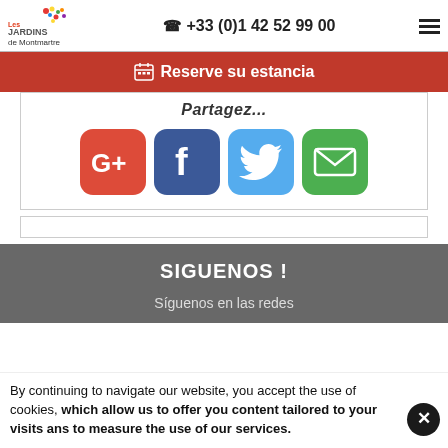Les Jardins de Montmartre — +33 (0)1 42 52 99 00
Reserve su estancia
Partagez...
[Figure (infographic): Four social media share buttons: Google+, Facebook, Twitter, Email]
SIGUENOS !
Síguenos en las redes
By continuing to navigate our website, you accept the use of cookies, which allow us to offer you content tailored to your visits ans to measure the use of our services.